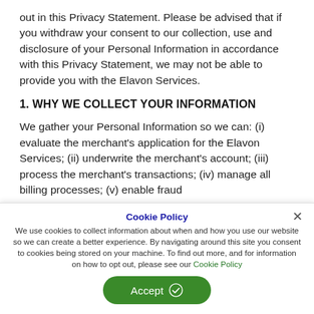out in this Privacy Statement. Please be advised that if you withdraw your consent to our collection, use and disclosure of your Personal Information in accordance with this Privacy Statement, we may not be able to provide you with the Elavon Services.
1. WHY WE COLLECT YOUR INFORMATION
We gather your Personal Information so we can: (i) evaluate the merchant's application for the Elavon Services; (ii) underwrite the merchant's account; (iii) process the merchant's transactions; (iv) manage all billing processes; (v) enable fraud
Cookie Policy — We use cookies to collect information about when and how you use our website so we can create a better experience. By navigating around this site you consent to cookies being stored on your machine. To find out more, and for information on how to opt out, please see our Cookie Policy